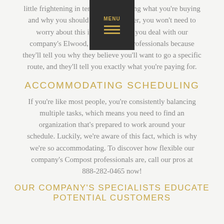little frightening in terms of wondering what you're buying and why you should buy it. However, you won't need to worry about this issue whenever you deal with our company's Elwood, IN Compost professionals because they'll tell you why they believe you'll want to go a specific route, and they'll tell you exactly what you're paying for.
ACCOMMODATING SCHEDULING
If you're like most people, you're consistently balancing multiple tasks, which means you need to find an organization that's prepared to work around your schedule. Luckily, we're aware of this fact, which is why we're so accommodating. To discover how flexible our company's Compost professionals are, call our pros at 888-282-0465 now!
OUR COMPANY'S SPECIALISTS EDUCATE POTENTIAL CUSTOMERS